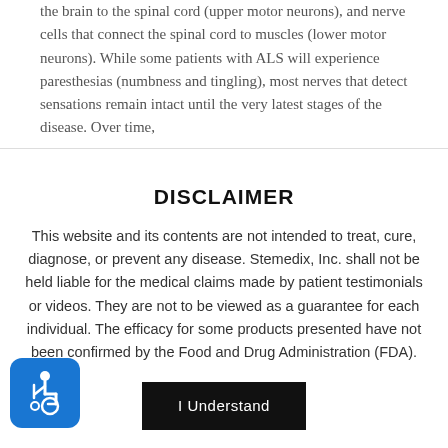the brain to the spinal cord (upper motor neurons), and nerve cells that connect the spinal cord to muscles (lower motor neurons). While some patients with ALS will experience paresthesias (numbness and tingling), most nerves that detect sensations remain intact until the very latest stages of the disease. Over time,
DISCLAIMER
This website and its contents are not intended to treat, cure, diagnose, or prevent any disease. Stemedix, Inc. shall not be held liable for the medical claims made by patient testimonials or videos. They are not to be viewed as a guarantee for each individual. The efficacy for some products presented have not been confirmed by the Food and Drug Administration (FDA).
[Figure (illustration): Accessibility icon — blue rounded square with white wheelchair user symbol]